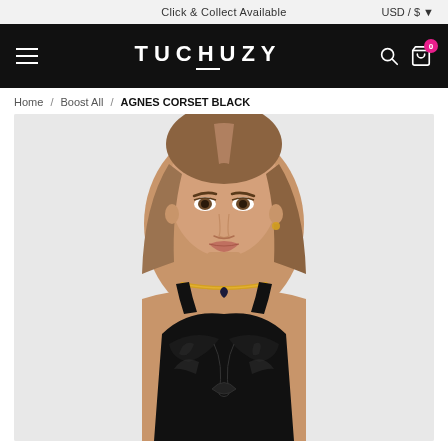Click & Collect Available   USD / $
TUCHUZY
Home / Boost All / AGNES CORSET BLACK
[Figure (photo): Female model wearing a black satin corset top with ruched front tie detail, square neckline, and thick straps. She wears a gold chain choker necklace with a heart pendant. The photo is cropped to show head and upper torso against a light gray background.]